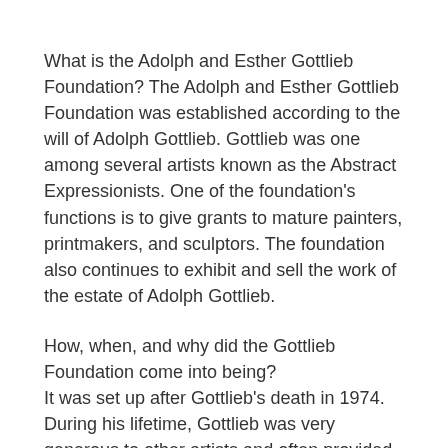What is the Adolph and Esther Gottlieb Foundation? The Adolph and Esther Gottlieb Foundation was established according to the will of Adolph Gottlieb. Gottlieb was one among several artists known as the Abstract Expressionists. One of the foundation's functions is to give grants to mature painters, printmakers, and sculptors. The foundation also continues to exhibit and sell the work of the estate of Adolph Gottlieb.
How, when, and why did the Gottlieb Foundation come into being? It was set up after Gottlieb's death in 1974. During his lifetime, Gottlieb was very generous to other artists and often provided loans to artists during times of crisis and need. He became acutely aware of artists' needs, especially during times of emergency. To continue